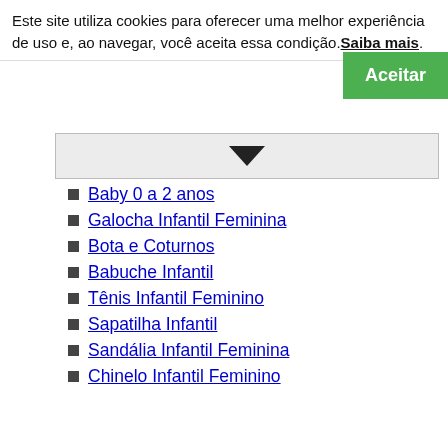Este site utiliza cookies para oferecer uma melhor experiência de uso e, ao navegar, você aceita essa condição. Saiba mais.
[Figure (other): Green Aceitar (Accept) button on the right side of cookie banner]
[Figure (other): Dropdown chevron bar (gray background with black downward triangle)]
Baby 0 a 2 anos
Galocha Infantil Feminina
Bota e Coturnos
Babuche Infantil
Tênis Infantil Feminino
Sapatilha Infantil
Sandália Infantil Feminina
Chinelo Infantil Feminino
WBoys - Meninos
LPS
Novidades
Bolsas e Meias
[Figure (other): Dropdown chevron bar at the bottom (gray background with large black V/checkmark shape)]
[Figure (logo): WhatsApp button (green rounded square with phone/WhatsApp icon)]